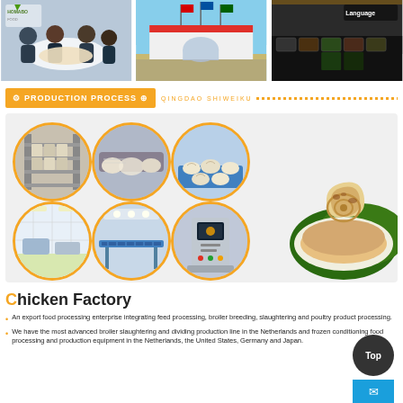[Figure (photo): Three photos side by side: left shows people at a business meeting/expo booth with food samples, center shows an outdoor expo/fair building with flags, right shows an upscale food display/buffet with various dishes]
PRODUCTION PROCESS  QINGDAO SHIWEIKU
[Figure (photo): Production process collage: 6 circular images showing factory/production line scenes (storage racks, dough rolling, dumpling forming, clean room, conveyor belts, packaging machine), plus a product photo of layered flatbreads on a plate with green leaves]
Chicken Factory
An export food processing enterprise integrating feed processing, broiler breeding, slaughtering and poultry product processing.
We have the most advanced broiler slaughtering and dividing production line in the Netherlands and frozen conditioning food processing and production equipment in the Netherlands, the United States, Germany and Japan.